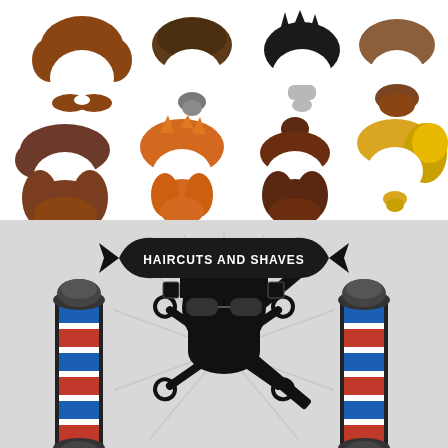[Figure (illustration): Eight cartoon male face hairstyle and beard style icons arranged in two rows of four. Row 1: brown wavy hair with thick brown mustache; dark brown hair with grey/brown goatee beard; black spiky hair with grey soul patch beard; brown quiff hair with full brown beard. Row 2: brown side-swept hair with large full brown beard; orange/auburn spiky hair with orange full beard; dark brown bun hair with dark brown full beard; blonde flowing hair with small blonde goatee.]
[Figure (illustration): Vintage barber shop logo/emblem on light grey textured background. Center: black silhouette of bearded man wearing sunglasses with slicked hair. Banner across top reads 'HAIRCUTS AND SHAVES'. Two barber poles with red, white, and blue stripes flank the sides. Crossed scissors and straight razor behind the face silhouette. Burst/rays emanating from center.]